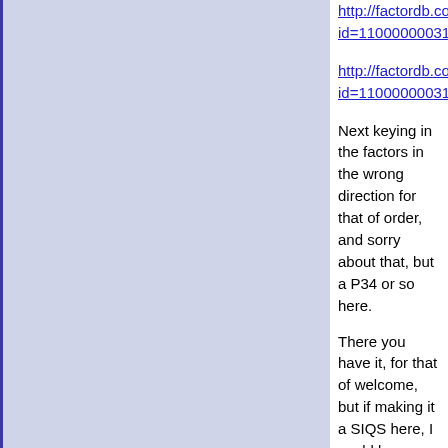http://factordb.com/index.php?id=1100000003184710981
http://factordb.com/index.php?id=1100000003184709003
Next keying in the factors in the wrong direction for that of order, and sorry about that, but a P34 or so here.
There you have it, for that of welcome, but if making it a SIQS here, I could be checking in tomorrow for that of result.
And Google Chrome could be having a problem for that of pull-down menu for that of tabs, because here clicking for a new one instead.
Perhaps old habit here only, for still the "+" sign besides or to the right of opened tabs, but here clicking it anyway, for not the down arrow.
But only so sad once again, for that of re-running the task I already got quite factors on, but next stuck in the mood for not any willing.
Here the elephant could be remembering what he only got to learn, for not picking it